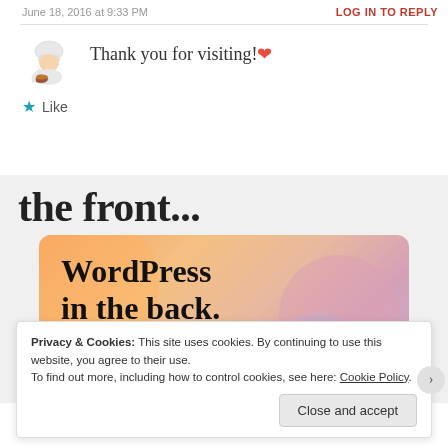COOKING FOR THE TIME CHALLENGED
June 18, 2016 at 9:33 PM
LOG IN TO REPLY
Thank you for visiting!❤
Like
[Figure (illustration): Chef cartoon avatar with bowl]
the front...
[Figure (illustration): WordPress advertisement banner with colorful blobs background. Text reads: WordPress in the back.]
Privacy & Cookies:  This site uses cookies.  By continuing to use this website, you agree to their use.
To find out more, including how to control cookies, see here: Cookie Policy
Close and accept